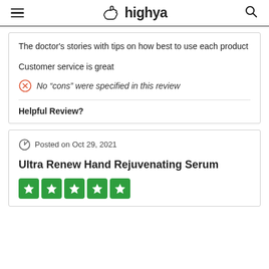highya
The doctor's stories with tips on how best to use each product
Customer service is great
No “cons” were specified in this review
Helpful Review?
Posted on Oct 29, 2021
Ultra Renew Hand Rejuvenating Serum
[Figure (other): Five green star rating boxes with white star icons]